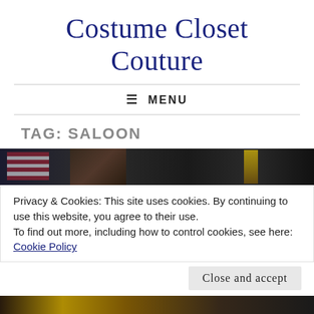Costume Closet Couture
≡ MENU
TAG: SALOON
[Figure (photo): Dark photo strip showing a person with an American flag and candlelight in a dim setting]
Privacy & Cookies: This site uses cookies. By continuing to use this website, you agree to their use.
To find out more, including how to control cookies, see here:
Cookie Policy
Close and accept
[Figure (photo): Bottom dark photo strip showing partial view of a person in costume]